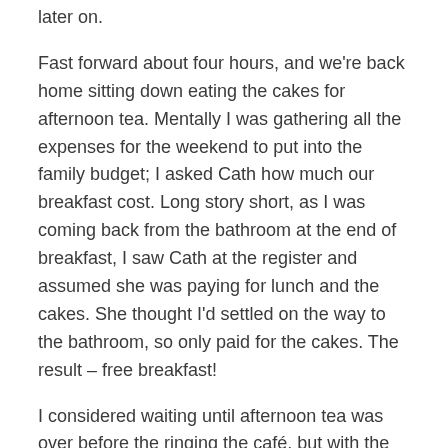later on.
Fast forward about four hours, and we're back home sitting down eating the cakes for afternoon tea. Mentally I was gathering all the expenses for the weekend to put into the family budget; I asked Cath how much our breakfast cost. Long story short, as I was coming back from the bathroom at the end of breakfast, I saw Cath at the register and assumed she was paying for lunch and the cakes. She thought I'd settled on the way to the bathroom, so only paid for the cakes. The result – free breakfast!
I considered waiting until afternoon tea was over before the ringing the café, but with the kids sitting around the table with us, it seemed like one of those perfect teachable moments. Making a quick inventory of all we ate and drank, I called the café and explained our mistake; they'd closed a few hours ago and had been trying to work out why the books didn't balance. The girl was so shocked that I'd